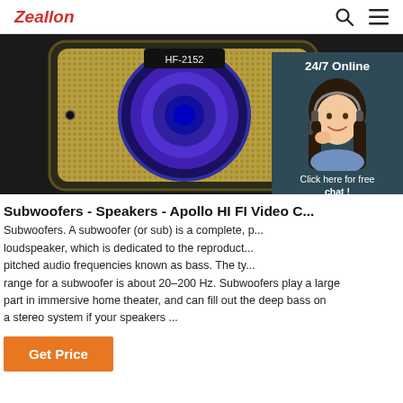Zeallon
[Figure (photo): Product photo of a portable speaker/subwoofer with glowing blue circular speaker cone and metallic mesh grille, model HF-2152. Dark background.]
[Figure (photo): 24/7 Online chat widget showing a smiling woman wearing a headset, with text 'Click here for free chat!' and an orange QUOTATION button.]
Subwoofers - Speakers - Apollo HI FI Video C...
Subwoofers. A subwoofer (or sub) is a complete, p... loudspeaker, which is dedicated to the reproduct... pitched audio frequencies known as bass. The ty... range for a subwoofer is about 20–200 Hz. Subwoofers play a large part in immersive home theater, and can fill out the deep bass on a stereo system if your speakers ...
Get Price